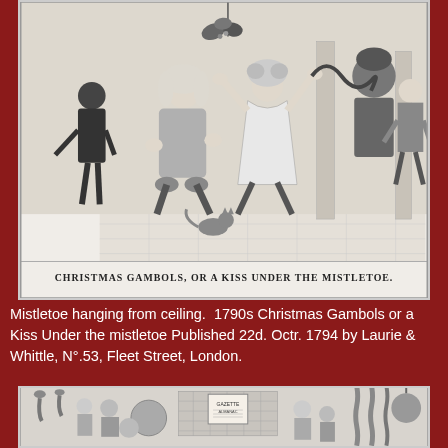[Figure (illustration): Black and white engraving titled 'Christmas Gambols, or a Kiss Under the Mistletoe' showing a lively indoor scene with several figures including a man in powdered wig, a woman in period dress, others dancing or playing, a cat on the floor, and festive decorations. Caption at bottom reads 'Christmas Gambols, or a Kiss Under the Mistletoe.']
Mistletoe hanging from ceiling.  1790s Christmas Gambols or a Kiss Under the mistletoe Published 22d. Octr. 1794 by Laurie & Whittle, N°.53, Fleet Street, London.
[Figure (illustration): Black and white engraving showing a busy butcher shop interior with hanging meats, sausages, and several figures including merchants and customers.]